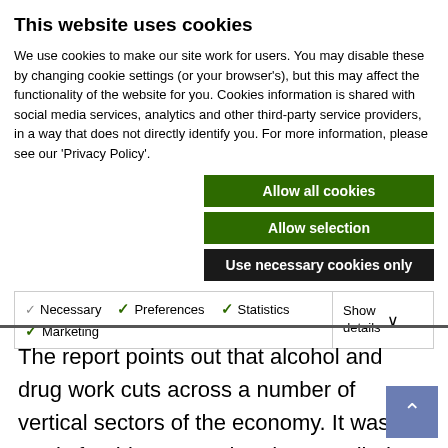This website uses cookies
We use cookies to make our site work for users. You may disable these by changing cookie settings (or your browser's), but this may affect the functionality of the website for you. Cookies information is shared with social media services, analytics and other third-party service providers, in a way that does not directly identify you. For more information, please see our 'Privacy Policy'.
Allow all cookies
Allow selection
Use necessary cookies only
Necessary  Preferences  Statistics  Marketing  Show details
The report points out that alcohol and drug work cuts across a number of vertical sectors of the economy. It was partly for this reason that the so-called Drug Tsar, the UK Anti-Drug Co-ordinator was appointed in 1997 to bring together drug-